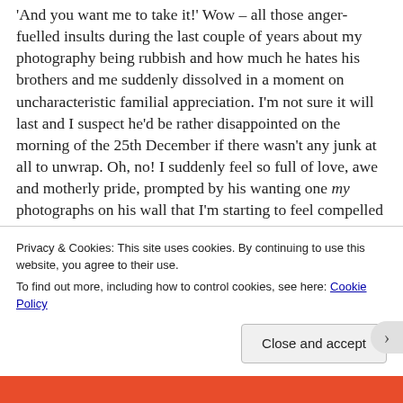'And you want me to take it!'  Wow – all those anger-fuelled insults during the last couple of years about my photography being rubbish and how much he hates his brothers and me suddenly dissolved in a moment on uncharacteristic familial appreciation.  I'm not sure it will last and I suspect he'd be rather disappointed on the morning of the 25th December if there wasn't any junk at all to unwrap.  Oh, no!  I suddenly feel so full of love, awe and motherly pride, prompted by his wanting one my photographs on his wall that I'm starting to feel compelled to go out and buy him lots of expensive stuff which I can't afford, such as a special fruitily
Privacy & Cookies: This site uses cookies. By continuing to use this website, you agree to their use.
To find out more, including how to control cookies, see here: Cookie Policy
Close and accept